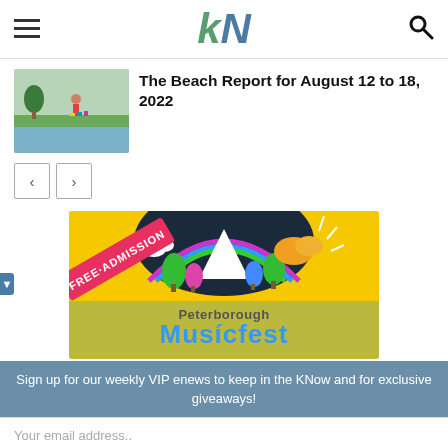kN (logo) — hamburger menu and search icons
[Figure (photo): Thumbnail photo of a child playing outdoors near water with colorful toys]
The Beach Report for August 12 to 18, 2022
< > (pagination navigation buttons)
[Figure (illustration): Peterborough Musicfest advertisement banner — yellow background, FREE ADMISSION banner, colorful festival logo with trees and rainbow, text reads Peterborough Musicfest]
Sign up for our weekly VIP enews to keep in the KNow and for exclusive giveaways!
Your email address..
SUBSCRIBE